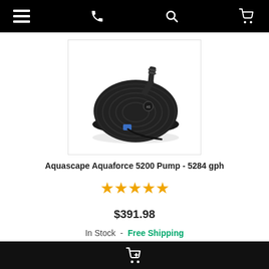Navigation bar with menu, phone, search, and cart icons
[Figure (photo): Aquascape Aquaforce 5200 submersible pond pump, black dome-shaped unit with ribbed housing, blue connector, and black hose fitting on top]
Aquascape Aquaforce 5200 Pump - 5284 gph
[Figure (other): Five gold star rating icons]
$391.98
In Stock  -  Free Shipping
[Figure (other): Black add to cart button bar at bottom]